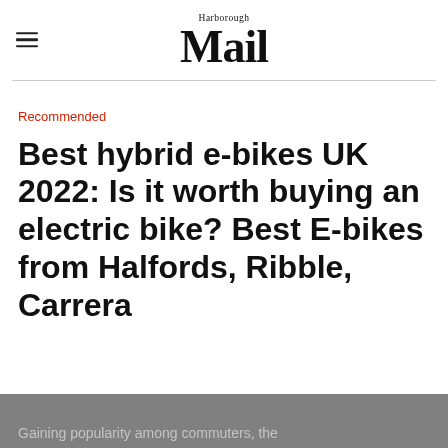Harborough Mail
Recommended
Best hybrid e-bikes UK 2022: Is it worth buying an electric bike? Best E-bikes from Halfords, Ribble, Carrera
Gaining popularity among commuters, the